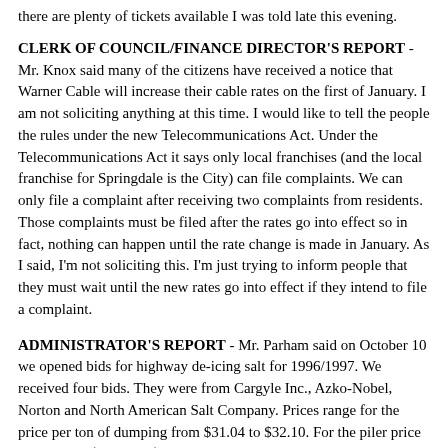there are plenty of tickets available I was told late this evening.
CLERK OF COUNCIL/FINANCE DIRECTOR'S REPORT - Mr. Knox said many of the citizens have received a notice that Warner Cable will increase their cable rates on the first of January. I am not soliciting anything at this time. I would like to tell the people the rules under the new Telecommunications Act. Under the Telecommunications Act it says only local franchises (and the local franchise for Springdale is the City) can file complaints. We can only file a complaint after receiving two complaints from residents. Those complaints must be filed after the rates go into effect so in fact, nothing can happen until the rate change is made in January. As I said, I'm not soliciting this. I'm just trying to inform people that they must wait until the new rates go into effect if they intend to file a complaint.
ADMINISTRATOR'S REPORT - Mr. Parham said on October 10 we opened bids for highway de-icing salt for 1996/1997. We received four bids. They were from Cargyle Inc., Azko-Nobel, Norton and North American Salt Company. Prices range for the price per ton of dumping from $31.04 to $32.10. For the piler price the range is $33.04 to $33.60. Last year's cost with Cargyle as our supplier was $28.84 per ton dumped; $30.34 per ton piled giving us an increase this year of $2.20 with the lowest bidder for ton dumped and $2.70 per ton piled. We would like to recommend the low bidder of North American Salt Company at $31.04 per ton